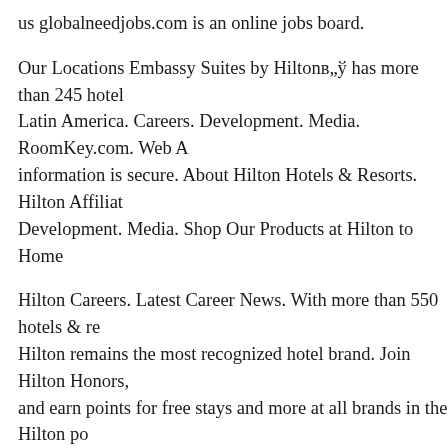us globalneedjobs.com is an online jobs board.
Our Locations Embassy Suites by Hiltonв„ў has more than 245 hotels in Latin America. Careers. Development. Media. RoomKey.com. Web information is secure. About Hilton Hotels & Resorts. Hilton Affiliat Development. Media. Shop Our Products at Hilton to Home
Hilton Careers. Latest Career News. With more than 550 hotels & resorts, Hilton remains the most recognized hotel brand. Join Hilton Honors, and earn points for free stays and more at all brands in the Hilton portfolio. Development.
Our Locations Embassy Suites by Hiltonв„ў has more than 245 hotels in Latin America. Careers. Development. Media. RoomKey.com. Web Honorsв„ў Upgrade your account and earn points at over 3,600 hotels available to order online at www
Apply to Hilton Birmingham Metropole Hotel jobs now hiring on Indeed, largest job site. Waldorf Astoria Collection The luxury brand offering and the most exclusive hotels and resorts.